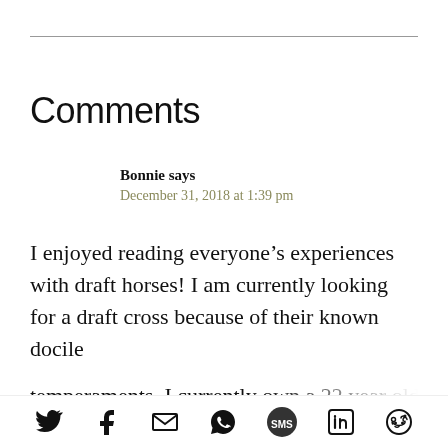Comments
Bonnie says
December 31, 2018 at 1:39 pm
I enjoyed reading everyone’s experiences with draft horses! I am currently looking for a draft cross because of their known docile temperaments. I currently own a 22 year old
[Figure (infographic): Social sharing icons bar: Twitter, Facebook, Email, WhatsApp, SMS, LinkedIn, Reddit]